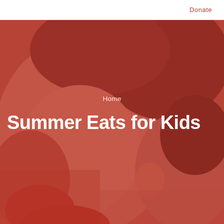Donate
[Figure (photo): Close-up photo of two children with a red color overlay. A young girl in the foreground is eating something red (appears to be a strawberry or popsicle), and another child is partially visible in the background.]
Home
Summer Eats for Kids